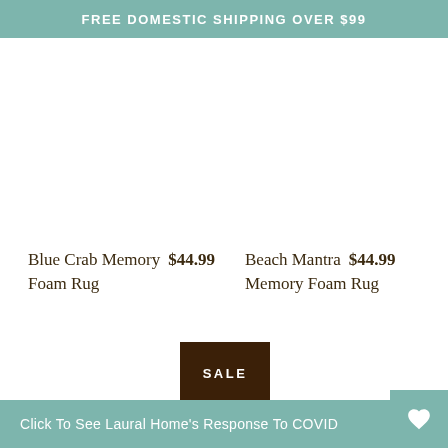FREE DOMESTIC SHIPPING OVER $99
Blue Crab Memory Foam Rug  $44.99
Beach Mantra Memory Foam Rug  $44.99
[Figure (other): SALE badge - dark brown rectangle with white text reading SALE]
Click To See Laural Home's Response To COVID